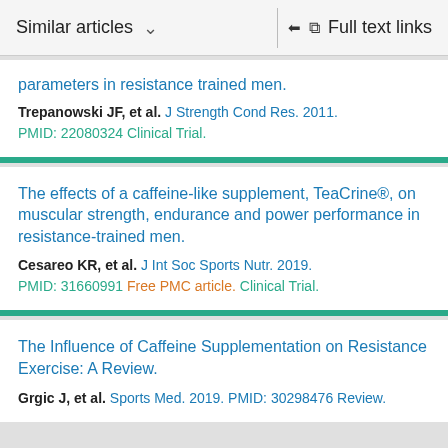Similar articles   ∨   Full text links
parameters in resistance trained men.
Trepanowski JF, et al. J Strength Cond Res. 2011.
PMID: 22080324 Clinical Trial.
The effects of a caffeine-like supplement, TeaCrine®, on muscular strength, endurance and power performance in resistance-trained men.
Cesareo KR, et al. J Int Soc Sports Nutr. 2019.
PMID: 31660991 Free PMC article. Clinical Trial.
The Influence of Caffeine Supplementation on Resistance Exercise: A Review.
Grgic J, et al. Sports Med. 2019. PMID: 30298476 Review.